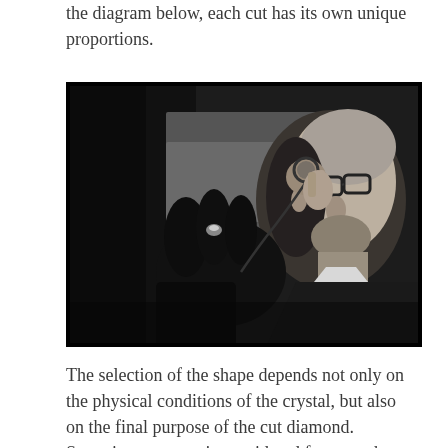the diagram below, each cut has its own unique proportions.
[Figure (photo): Black and white photograph of a man wearing glasses examining a small gemstone or diamond ring using a loupe/magnifier. The man is bald and wearing a dark suit with a white shirt and a watch. The image is shot in a dark, dramatic style.]
The selection of the shape depends not only on the physical conditions of the crystal, but also on the final purpose of the cut diamond. Sometimes a stone is considered for a cut that would be most efficient